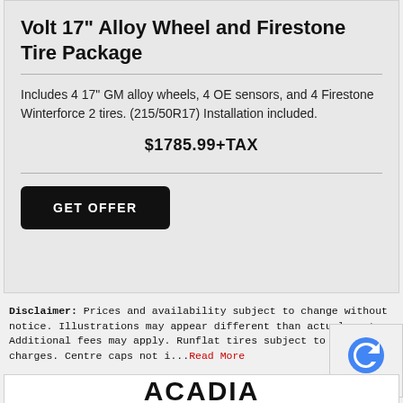Volt 17" Alloy Wheel and Firestone Tire Package
Includes 4 17" GM alloy wheels, 4 OE sensors, and 4 Firestone Winterforce 2 tires. (215/50R17) Installation included.
$1785.99+TAX
GET OFFER
Disclaimer: Prices and availability subject to change without notice. Illustrations may appear different than actual part. Additional fees may apply. Runflat tires subject to additional charges. Centre caps not i... Read More
ACADIA